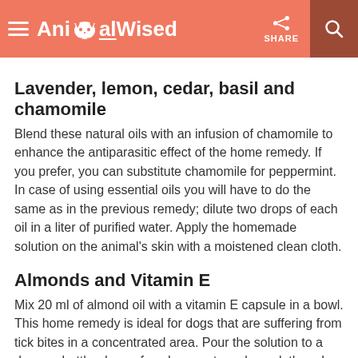AnimalWised
Lavender, lemon, cedar, basil and chamomile
Blend these natural oils with an infusion of chamomile to enhance the antiparasitic effect of the home remedy. If you prefer, you can substitute chamomile for peppermint. In case of using essential oils you will have to do the same as in the previous remedy; dilute two drops of each oil in a liter of purified water. Apply the homemade solution on the animal's skin with a moistened clean cloth.
Almonds and Vitamin E
Mix 20 ml of almond oil with a vitamin E capsule in a bowl. This home remedy is ideal for dogs that are suffering from tick bites in a concentrated area. Pour the solution to a dropper bottle, drop a few drops onto a clean cloth and gently massage it into your dog's exterior ear area. Be very